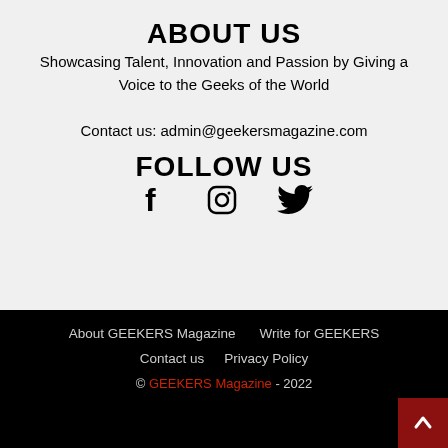ABOUT US
Showcasing Talent, Innovation and Passion by Giving a Voice to the Geeks of the World
Contact us: admin@geekersmagazine.com
FOLLOW US
[Figure (illustration): Three social media icons: Facebook (f), Instagram (camera), Twitter (bird)]
About GEEKERS Magazine | Write for GEEKERS | Contact us | Privacy Policy | © GEEKERS Magazine - 2022